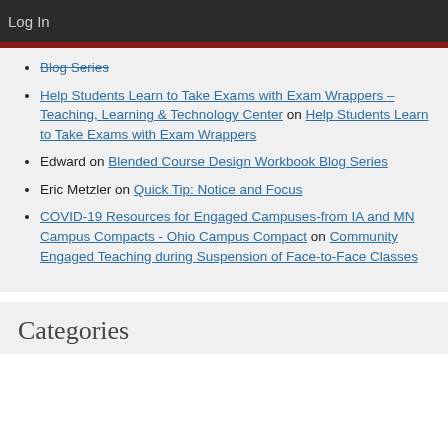Log In
Blog Series (partial, link)
Help Students Learn to Take Exams with Exam Wrappers – Teaching, Learning & Technology Center on Help Students Learn to Take Exams with Exam Wrappers
Edward on Blended Course Design Workbook Blog Series
Eric Metzler on Quick Tip: Notice and Focus
COVID-19 Resources for Engaged Campuses-from IA and MN Campus Compacts - Ohio Campus Compact on Community Engaged Teaching during Suspension of Face-to-Face Classes
Categories